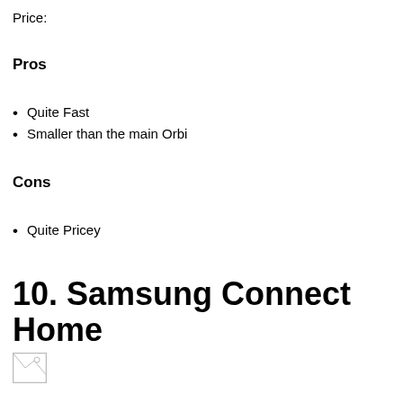Price:
Pros
Quite Fast
Smaller than the main Orbi
Cons
Quite Pricey
10. Samsung Connect Home
[Figure (photo): Small image placeholder at bottom of page]